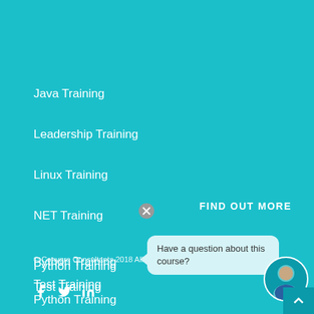Java Training
Leadership Training
Linux Training
NET Training
Python Training
Test Training
Web Training
XML Training
FIND OUT MORE
© Conygre Consultants 2018 All Rights Reserved
Have a question about this course?